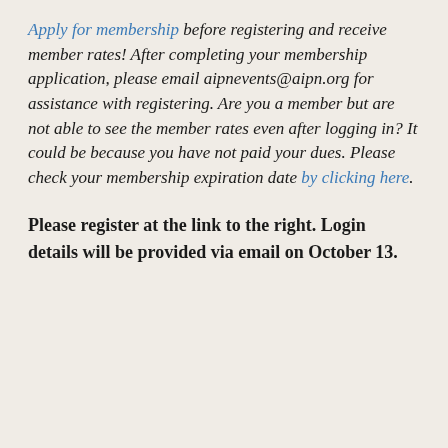Apply for membership before registering and receive member rates! After completing your membership application, please email aipnevents@aipn.org for assistance with registering. Are you a member but are not able to see the member rates even after logging in? It could be because you have not paid your dues. Please check your membership expiration date by clicking here.
Please register at the link to the right. Login details will be provided via email on October 13.